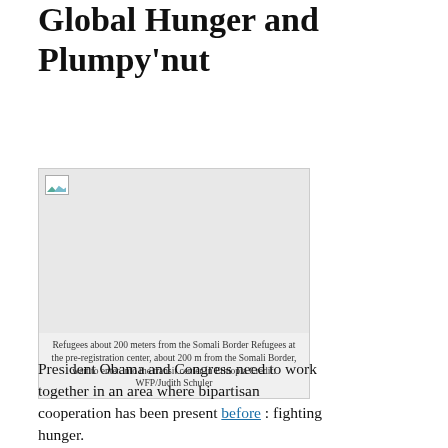Global Hunger and Plumpy'nut
[Figure (photo): Broken/loading image placeholder showing a small thumbnail icon, representing a photo of refugees about 200 meters from the Somali Border at a pre-registration center waiting to enter the transit center in Ethiopia.]
Refugees about 200 meters from the Somali Border Refugees at the pre-registration center, about 200 m from the Somali Border, wait to enter into the transit center in Ethiopia Credit: WFP/Judith Schuler
President Obama and Congress need to work together in an area where bipartisan cooperation has been present before : fighting hunger.